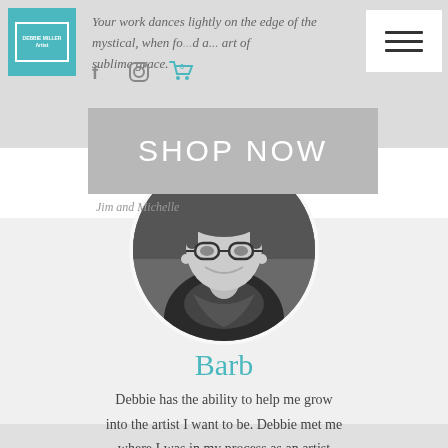Navigation header with logo, social icons, and hamburger menu
Your work dances lightly on the edge of the mystical, when found a heart of sublime grace.
SHOP NOW
Jim and Michelle
[Figure (photo): Black and white circular portrait photo of a woman named Barb, smiling, wearing glasses and a scarf]
Barb
Debbie has the ability to help me grow into the artist I want to be. Debbie met me where I was in my process as an artist and worked with me as a unique individual.